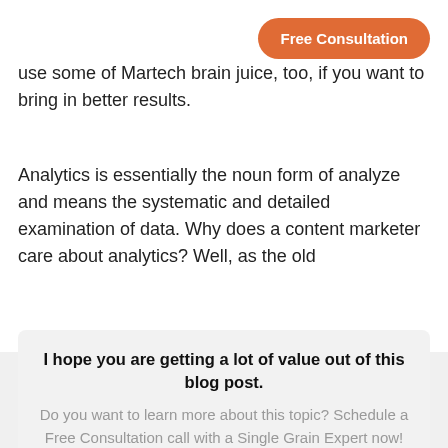use some of Martech brain juice, too, if you want to bring in better results.
Analytics is essentially the noun form of analyze and means the systematic and detailed examination of data. Why does a content marketer care about analytics? Well, as the old
I hope you are getting a lot of value out of this blog post.
Do you want to learn more about this topic? Schedule a Free Consultation call with a Single Grain Expert now!
Book a call
Free Consultation